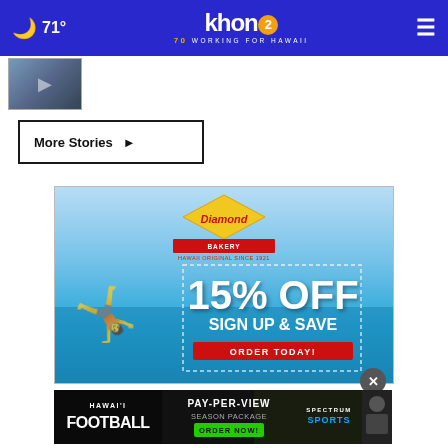71° khon2 WORKING FOR HAWAII
[Figure (photo): Small thumbnail image of a news story]
More Stories ▶
[Figure (infographic): Diamond Bakery advertisement: 15% OFF SIGN UP & SAVE ORDER TODAY! Hawaii Original Since 1921]
[Figure (infographic): Hawai'i Football Pay-Per-View Season Package Order Now! Spectrum Sports advertisement with coach photo]